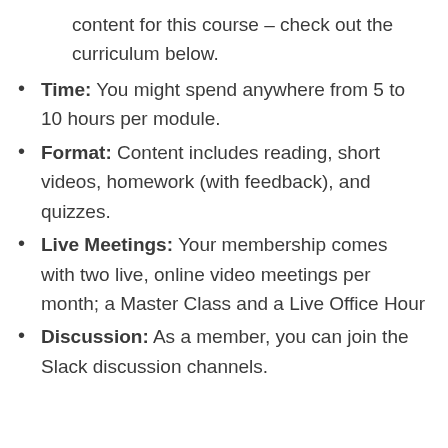content for this course – check out the curriculum below.
Time: You might spend anywhere from 5 to 10 hours per module.
Format: Content includes reading, short videos, homework (with feedback), and quizzes.
Live Meetings: Your membership comes with two live, online video meetings per month; a Master Class and a Live Office Hour
Discussion: As a member, you can join the Slack discussion channels.